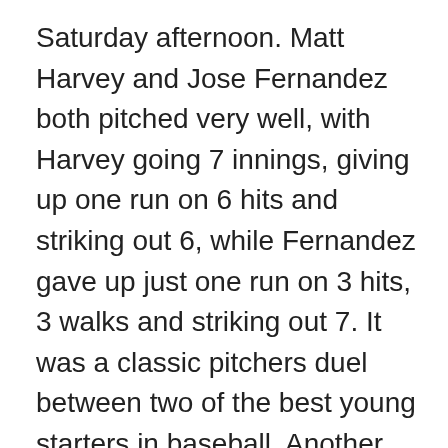Saturday afternoon. Matt Harvey and Jose Fernandez both pitched very well, with Harvey going 7 innings, giving up one run on 6 hits and striking out 6, while Fernandez gave up just one run on 3 hits, 3 walks and striking out 7. It was a classic pitchers duel between two of the best young starters in baseball. Another pitchers duel ensued in the later innings, between veterans Kevin Slowey and Shaun Marcum. Slowey tossed 7 shutout innings, giving up just 8 hits and striking out 8, while Marcum took the loss. Marcum pitched very well, going 8 innings, giving up one run on just 5 hits and striking out 7 In the Rangers-Blue Jays game, Yu Darvish did battle with Mark Buerhle, with Buerhle outpitching Darvish. Darvish gave up 2 earned runs, on 5 hits, 3 walks and 7 strikeouts in 7 innings, while Buerhle gave up just one run on 4 hits, 2 walks and striking out 8.